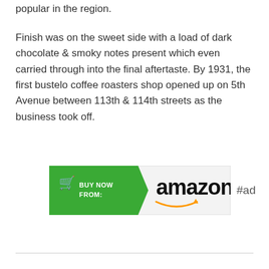popular in the region.
Finish was on the sweet side with a load of dark chocolate & smoky notes present which even carried through into the final aftertaste. By 1931, the first bustelo coffee roasters shop opened up on 5th Avenue between 113th & 114th streets as the business took off.
[Figure (other): Buy Now from Amazon button with green arrow and Amazon logo with smile, labeled #ad]